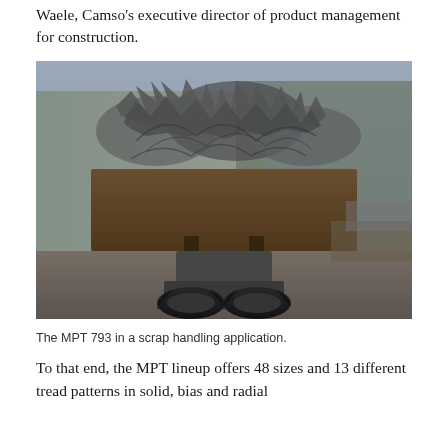Waele, Camso's executive director of product management for construction.
[Figure (photo): A construction vehicle (wheel loader or similar) carrying a large bucket filled with scrap metal and debris, viewed from the front, in an industrial scrap yard setting. The vehicle has large solid/heavy-duty tires (MPT 793). The background shows a warehouse building and piles of scrap.]
The MPT 793 in a scrap handling application.
To that end, the MPT lineup offers 48 sizes and 13 different tread patterns in solid, bias and radial